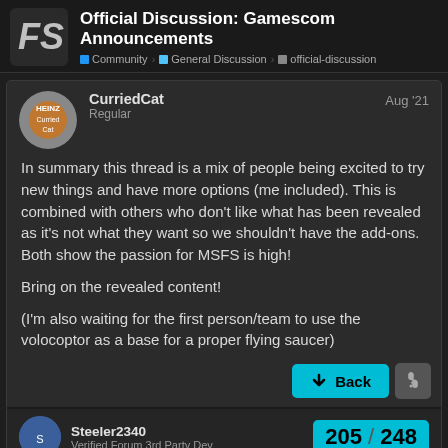Official Discussion: Gamescom Announcements | Community > General Discussion > official-discussion
CurriedCat | Regular | Aug '21
In summary this thread is a mix of people being excited to try new things and have more options (me included). This is combined with others who don't like what has been revealed as it's not what they want so we shouldn't have the add-ons. Both show the passion for MSFS is high!

Bring on the revealed content!

(I'm also waiting for the first person/team to use the volocoptor as a base for a proper flying saucer)
Steeler2340 | Verified Forum 3rd Party Dev | 205 / 248